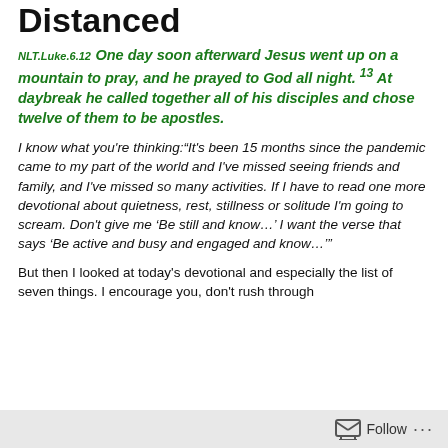Distanced
NLT.Luke.6.12 One day soon afterward Jesus went up on a mountain to pray, and he prayed to God all night. 13 At daybreak he called together all of his disciples and chose twelve of them to be apostles.
I know what you're thinking: "It's been 15 months since the pandemic came to my part of the world and I've missed seeing friends and family, and I've missed so many activities. If I have to read one more devotional about quietness, rest, stillness or solitude I'm going to scream. Don't give me 'Be still and know…' I want the verse that says 'Be active and busy and engaged and know…'"
But then I looked at today's devotional and especially the list of seven things. I encourage you, don't rush through
Follow